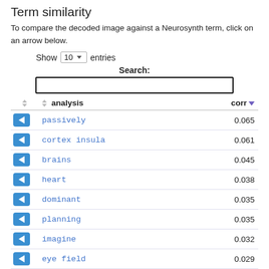Term similarity
To compare the decoded image against a Neurosynth term, click on an arrow below.
Show 10 entries
Search:
|  | analysis | corr |
| --- | --- | --- |
| ← | passively | 0.065 |
| ← | cortex insula | 0.061 |
| ← | brains | 0.045 |
| ← | heart | 0.038 |
| ← | dominant | 0.035 |
| ← | planning | 0.035 |
| ← | imagine | 0.032 |
| ← | eye field | 0.029 |